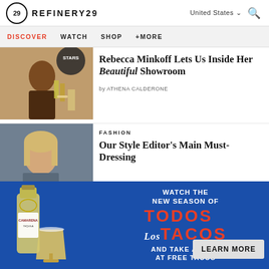REFINERY29 | United States | Search
DISCOVER   WATCH   SHOP   +MORE
[Figure (photo): Woman at a jewelry showroom with drinks and a 'Stars' sign]
Rebecca Minkoff Lets Us Inside Her Beautiful Showroom
by ATHENA CALDERONE
FASHION
[Figure (photo): Woman with blonde hair, partially visible, for fashion article]
Our Style Editor's Main Must-Dressing
[Figure (photo): Advertisement: Camarena Tequila bottle with a margarita drink. Blue background. Watch the New Season of Todos Los Tacos and Take a Shot at Free Tacos. Learn More button.]
WATCH THE NEW SEASON OF TODOS LOS TACOS AND TAKE A SHOT AT FREE TACOS
LEARN MORE